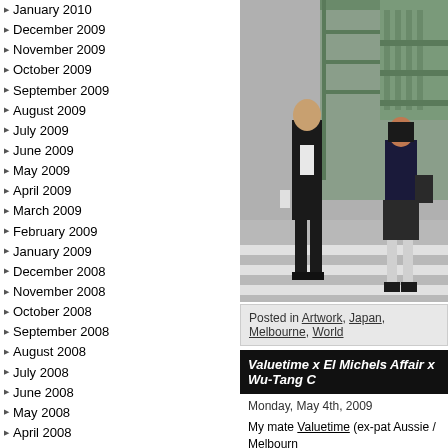January 2010
December 2009
November 2009
October 2009
September 2009
August 2009
July 2009
June 2009
May 2009
April 2009
March 2009
February 2009
January 2009
December 2008
November 2008
October 2008
September 2008
August 2008
July 2008
June 2008
May 2008
April 2008
March 2008
February 2008
January 2008
December 2007
November 2007
October 2007
September 2007
August 2007
[Figure (photo): Street crossing scene with man in suit and schoolgirl, urban Japanese street background with elevated structure]
Posted in Artwork, Japan, Melbourne, World
Valuetime x El Michels Affair x Wu-Tang C
Monday, May 4th, 2009
My mate Valuetime (ex-pat Aussie / Melbourne... Soundcloud… from the link:
El Michel's Affair just released an album of W and mashed them together. Since I can't find random acapellas into the instrumentals and
You can hear the El Michels Mission. Ent...